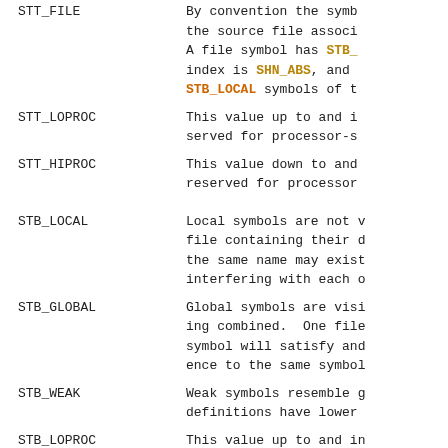STT_FILE — By convention the symbol the source file associ. A file symbol has STB_ index is SHN_ABS, and STB_LOCAL symbols of t
STT_LOPROC — This value up to and i served for processor-s
STT_HIPROC — This value down to and reserved for processor
STB_LOCAL — Local symbols are not v file containing their d the same name may exist interfering with each o
STB_GLOBAL — Global symbols are visi ing combined. One file symbol will satisfy and ence to the same symbol
STB_WEAK — Weak symbols resemble g definitions have lower
STB_LOPROC — This value up to and in served for processor-sp
STB_HIPROC — This value down to and served for processor-sp
There are macros for pa binding and type fields